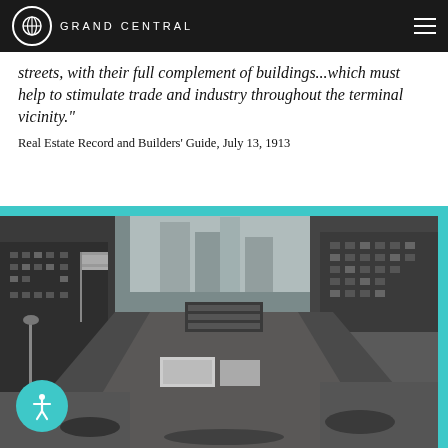GRAND CENTRAL
streets, with their full complement of buildings...which must help to stimulate trade and industry throughout the terminal vicinity.”
Real Estate Record and Builders’ Guide, July 13, 1913
[Figure (photo): Black and white historical photograph of a busy city street (likely Park Avenue or 42nd Street near Grand Central Terminal), showing tall buildings on both sides, American flags, heavy traffic, pedestrians, and a crowded midtown Manhattan scene from the early-to-mid 20th century.]